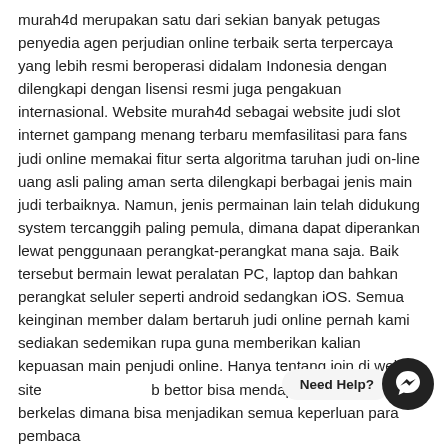murah4d merupakan satu dari sekian banyak petugas penyedia agen perjudian online terbaik serta terpercaya yang lebih resmi beroperasi didalam Indonesia dengan dilengkapi dengan lisensi resmi juga pengakuan internasional. Website murah4d sebagai website judi slot internet gampang menang terbaru memfasilitasi para fans judi online memakai fitur serta algoritma taruhan judi on-line uang asli paling aman serta dilengkapi berbagai jenis main judi terbaiknya. Namun, jenis permainan lain telah didukung system tercanggih paling pemula, dimana dapat diperankan lewat penggunaan perangkat-perangkat mana saja. Baik tersebut bermain lewat peralatan PC, laptop dan bahkan perangkat seluler seperti android sedangkan iOS. Semua keinginan member dalam bertaruh judi online pernah kami sediakan sedemikan rupa guna memberikan kalian kepuasan main penjudi online. Hanya tentang join di web site b bettor bisa mendapat layanan judi berkelas dimana bisa menjadikan semua keperluan para pembaca